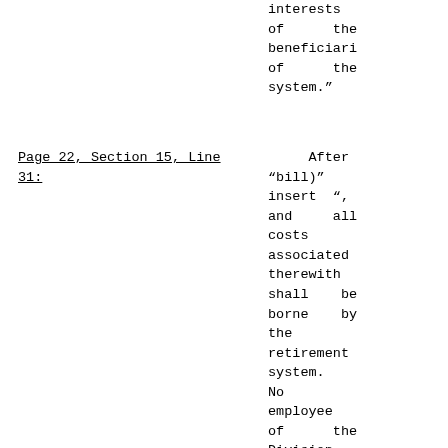interests of the beneficiaries of the system.”
Page 22, Section 15, Line 31:
After “bill)” insert “, and all costs associated therewith shall be borne by the retirement system. No employee of the Division of Pensions and Benefits who is